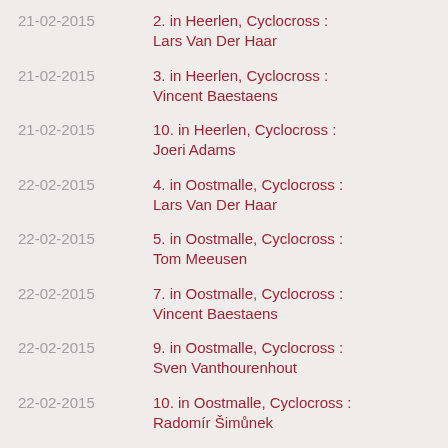21-02-2015 | 2. in Heerlen, Cyclocross : Lars Van Der Haar
21-02-2015 | 3. in Heerlen, Cyclocross : Vincent Baestaens
21-02-2015 | 10. in Heerlen, Cyclocross : Joeri Adams
22-02-2015 | 4. in Oostmalle, Cyclocross : Lars Van Der Haar
22-02-2015 | 5. in Oostmalle, Cyclocross : Tom Meeusen
22-02-2015 | 7. in Oostmalle, Cyclocross : Vincent Baestaens
22-02-2015 | 9. in Oostmalle, Cyclocross : Sven Vanthourenhout
22-02-2015 | 10. in Oostmalle, Cyclocross : Radomír Šimůnek
22-02-2015 | 12. in Oostmalle, Cyclocross : Dieter Vanthourenhout
22-02-2015 | 13. in Oostmalle, Cyclocross : Joeri Adams